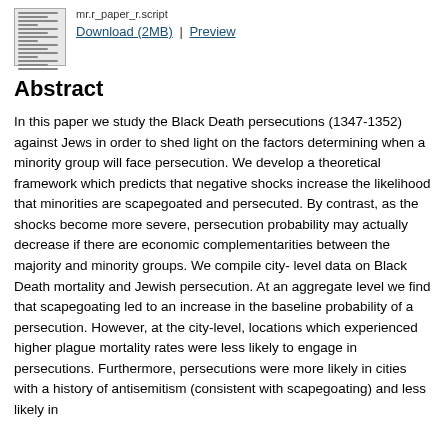[Figure (other): Thumbnail preview image of a document page]
Download (2MB) | Preview
Abstract
In this paper we study the Black Death persecutions (1347-1352) against Jews in order to shed light on the factors determining when a minority group will face persecution. We develop a theoretical framework which predicts that negative shocks increase the likelihood that minorities are scapegoated and persecuted. By contrast, as the shocks become more severe, persecution probability may actually decrease if there are economic complementarities between the majority and minority groups. We compile city- level data on Black Death mortality and Jewish persecution. At an aggregate level we find that scapegoating led to an increase in the baseline probability of a persecution. However, at the city-level, locations which experienced higher plague mortality rates were less likely to engage in persecutions. Furthermore, persecutions were more likely in cities with a history of antisemitism (consistent with scapegoating) and less likely in